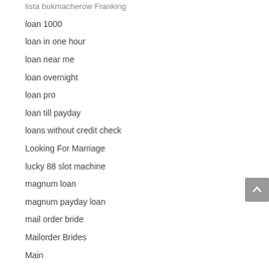lista bukmacherow Franking
loan 1000
loan in one hour
loan near me
loan overnight
loan pro
loan till payday
loans without credit check
Looking For Marriage
lucky 88 slot machine
magnum loan
magnum payday loan
mail order bride
Mailorder Brides
Main